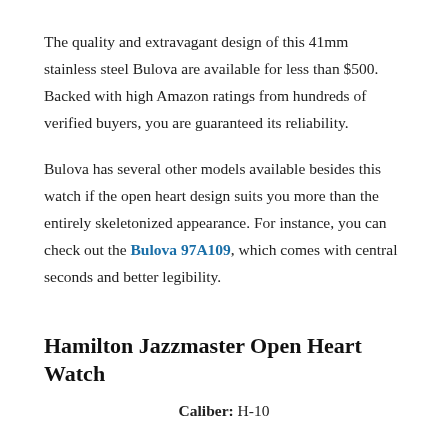The quality and extravagant design of this 41mm stainless steel Bulova are available for less than $500. Backed with high Amazon ratings from hundreds of verified buyers, you are guaranteed its reliability.
Bulova has several other models available besides this watch if the open heart design suits you more than the entirely skeletonized appearance. For instance, you can check out the Bulova 97A109, which comes with central seconds and better legibility.
Hamilton Jazzmaster Open Heart Watch
Caliber: H-10